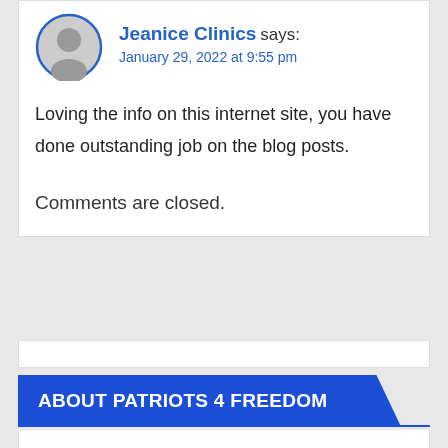Jeanice Clinics says:
January 29, 2022 at 9:55 pm
Loving the info on this internet site, you have done outstanding job on the blog posts.
Comments are closed.
ABOUT PATRIOTS 4 FREEDOM
"The Clash of ideas is the sound of freedom"